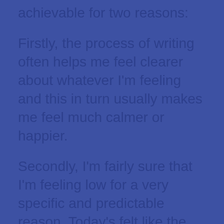achievable for two reasons:
Firstly, the process of writing often helps me feel clearer about whatever I'm feeling and this in turn usually makes me feel much calmer or happier.
Secondly, I'm fairly sure that I'm feeling low for a very specific and predictable reason. Today's felt like the first proper day of spring, the sun's out and feels warm, and several of the trees nearby are heavy with blossom. For many people this is a time of joy as the lighter evenings hint at the approach of summer. But for several years the first warm spell each spring has made me sad.
At first I couldn't understand it and it took me a while to work out why. It was in spring 2011 that